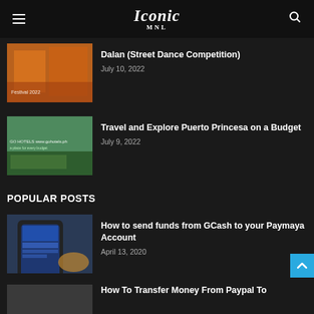Iconic MNL
Dalan (Street Dance Competition)
July 10, 2022
Travel and Explore Puerto Princesa on a Budget
July 9, 2022
POPULAR POSTS
How to send funds from GCash to your Paymaya Account
April 13, 2020
How To Transfer Money From Paypal To